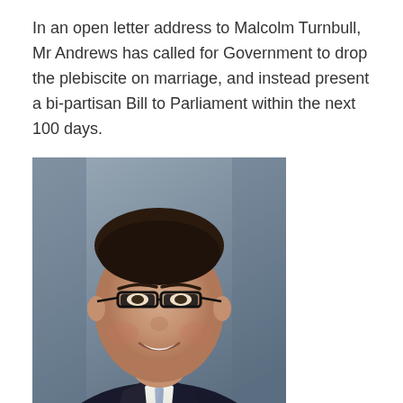In an open letter address to Malcolm Turnbull, Mr Andrews has called for Government to drop the plebiscite on marriage, and instead present a bi-partisan Bill to Parliament within the next 100 days.
[Figure (photo): Portrait photo of a man (Mr Andrews) in a dark suit with a light blue/purple tie, smiling, wearing glasses, against a grey background]
In the letter, he writes,